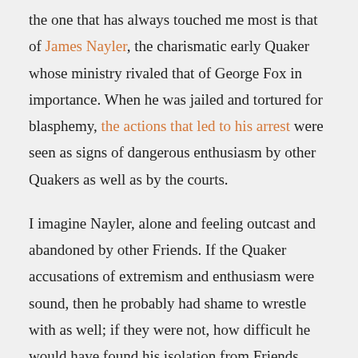the one that has always touched me most is that of James Nayler, the charismatic early Quaker whose ministry rivaled that of George Fox in importance. When he was jailed and tortured for blasphemy, the actions that led to his arrest were seen as signs of dangerous enthusiasm by other Quakers as well as by the courts.
I imagine Nayler, alone and feeling outcast and abandoned by other Friends. If the Quaker accusations of extremism and enthusiasm were sound, then he probably had shame to wrestle with as well; if they were not, how difficult he would have found his isolation from Friends. Any way you look at it, it would hardly have been surprising if he had emerged from his two years in prison as bitter in his spirit as he was broken in his body.
But he did not. It is from the period after his "fall" and imprisonment, indeed, from the day after he was robbed and